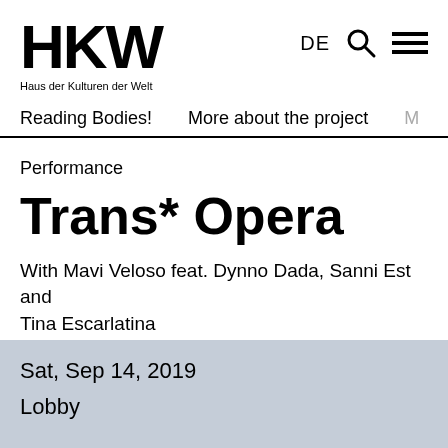HKW Haus der Kulturen der Welt
DE
Reading Bodies!  More about the project  M
Performance
Trans* Opera
With Mavi Veloso feat. Dynno Dada, Sanni Est and Tina Escarlatina
Sat, Sep 14, 2019
Lobby